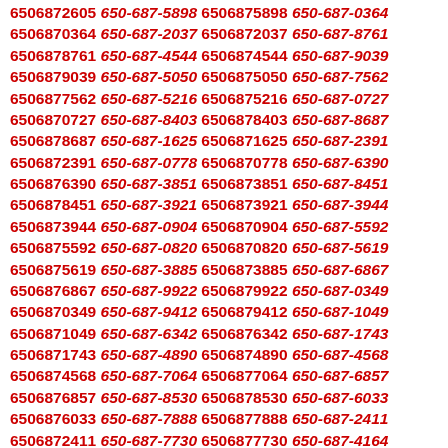6506872605 650-687-5898 6506875898 650-687-0364 6506870364 650-687-2037 6506872037 650-687-8761 6506878761 650-687-4544 6506874544 650-687-9039 6506879039 650-687-5050 6506875050 650-687-7562 6506877562 650-687-5216 6506875216 650-687-0727 6506870727 650-687-8403 6506878403 650-687-8687 6506878687 650-687-1625 6506871625 650-687-2391 6506872391 650-687-0778 6506870778 650-687-6390 6506876390 650-687-3851 6506873851 650-687-8451 6506878451 650-687-3921 6506873921 650-687-3944 6506873944 650-687-0904 6506870904 650-687-5592 6506875592 650-687-0820 6506870820 650-687-5619 6506875619 650-687-3885 6506873885 650-687-6867 6506876867 650-687-9922 6506879922 650-687-0349 6506870349 650-687-9412 6506879412 650-687-1049 6506871049 650-687-6342 6506876342 650-687-1743 6506871743 650-687-4890 6506874890 650-687-4568 6506874568 650-687-7064 6506877064 650-687-6857 6506876857 650-687-8530 6506878530 650-687-6033 6506876033 650-687-7888 6506877888 650-687-2411 6506872411 650-687-7730 6506877730 650-687-4164 6506874164 650-687-1780 6506871780 650-687-2586 6506872586 650-687-4797 6506874797 650-687-3156 6506873156 650-687-4653 6506874653 650-687-8145 6506878145 650-687-7682 6506877682 650-687-0395